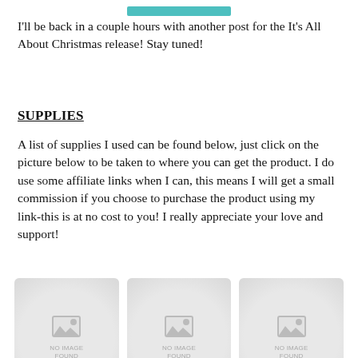[Figure (illustration): Partial view of a teal/turquoise rectangular graphic strip at the top of the page]
I'll be back in a couple hours with another post for the It's All About Christmas release!  Stay tuned!
SUPPLIES
A list of supplies I used can be found below, just click on the picture below to be taken to where you can get the product. I do use some affiliate links when I can, this means I will get a small commission if you choose to purchase the product using my link-this is at no cost to you!  I really appreciate your love and support!
[Figure (photo): Product placeholder - NO IMAGE FOUND, labeled: It's All About Christmas: I Want it]
[Figure (photo): Product placeholder - NO IMAGE FOUND, labeled: Merry Christmas Angel Bundle –]
[Figure (photo): Product placeholder - NO IMAGE FOUND, labeled: Merry Christmas Angel Dies –]